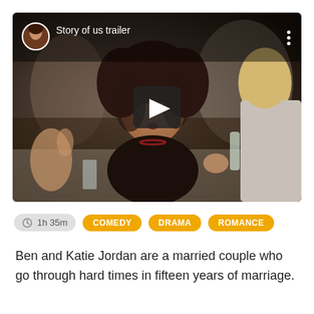[Figure (screenshot): Video thumbnail/player showing two women in conversation at a restaurant scene. Top bar shows a circular avatar photo of a woman with dark curly hair, title 'Story of us trailer', and three-dot menu. Center shows a dark play button overlay. The scene depicts a dark-haired woman gesturing and talking to a blonde woman facing away from camera.]
1h 35m   COMEDY   DRAMA   ROMANCE
Ben and Katie Jordan are a married couple who go through hard times in fifteen years of marriage.